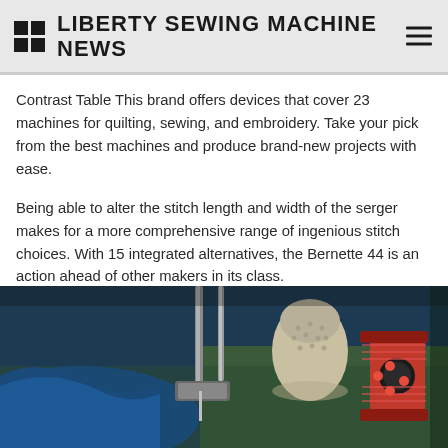LIBERTY SEWING MACHINE NEWS
Contrast Table This brand offers devices that cover 23 machines for quilting, sewing, and embroidery. Take your pick from the best machines and produce brand-new projects with ease.
Being able to alter the stitch length and width of the serger makes for a more comprehensive range of ingenious stitch choices. With 15 integrated alternatives, the Bernette 44 is an action ahead of other makers in its class.
[Figure (photo): Close-up photograph of a sewing machine needle, presser foot with blue fabric, a thimble, and a red thread spool on a green machine surface.]